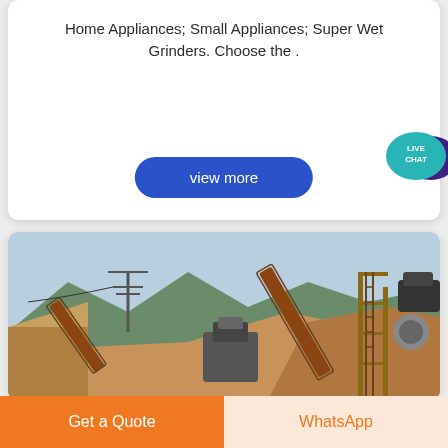Home Appliances; Small Appliances; Super Wet Grinders. Choose the .
[Figure (screenshot): Blue rounded 'view more' button]
[Figure (photo): Industrial mining/crushing machinery site with conveyor belts, scaffolding, and mountains in background]
[Figure (infographic): Live chat speech bubble icon in teal/teal-blue]
Get a Quote
WhatsApp